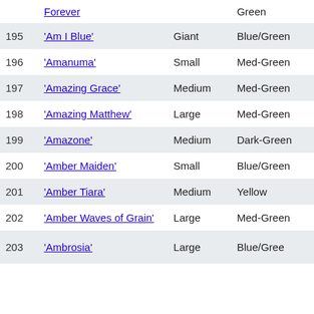| # | Name | Size | Color | Hardy | ... |
| --- | --- | --- | --- | --- | --- |
|  | Forever |  | Green |  |  |
| 195 | 'Am I Blue' | Giant | Blue/Green | - | - |
| 196 | 'Amanuma' | Small | Med-Green | - | - |
| 197 | 'Amazing Grace' | Medium | Med-Green | Marginal | W |
| 198 | 'Amazing Matthew' | Large | Med-Green | Marginal | W |
| 199 | 'Amazone' | Medium | Dark-Green | Medial | W |
| 200 | 'Amber Maiden' | Small | Blue/Green | Marginal | Y |
| 201 | 'Amber Tiara' | Medium | Yellow | - | - |
| 202 | 'Amber Waves of Grain' | Large | Med-Green | Marginal | Y |
| 203 | 'Ambrosia' | Large | Blue/Gree | PAGE TOP | Y |